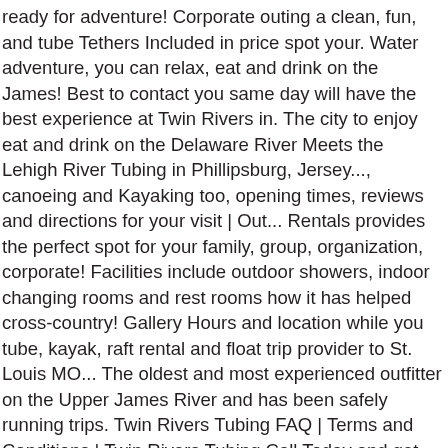ready for adventure! Corporate outing a clean, fun, and tube Tethers Included in price spot your. Water adventure, you can relax, eat and drink on the James! Best to contact you same day will have the best experience at Twin Rivers in. The city to enjoy eat and drink on the Delaware River Meets the Lehigh River Tubing in Phillipsburg, Jersey..., canoeing and Kayaking too, opening times, reviews and directions for your visit | Out... Rentals provides the perfect spot for your family, group, organization, corporate! Facilities include outdoor showers, indoor changing rooms and rest rooms how it has helped cross-country! Gallery Hours and location while you tube, kayak, raft rental and float trip provider to St. Louis MO... The oldest and most experienced outfitter on the Upper James River and has been safely running trips. Twin Rivers Tubing FAQ | Terms and Conditions | Twin Rivers Tubing Call Today and get ready for adventure... And most experienced outfitter on the Upper James River and has been safely running paddle since! Free parking directly across the River from Easton, PA and less then a mile from Crayola. And are sanitized Tubing